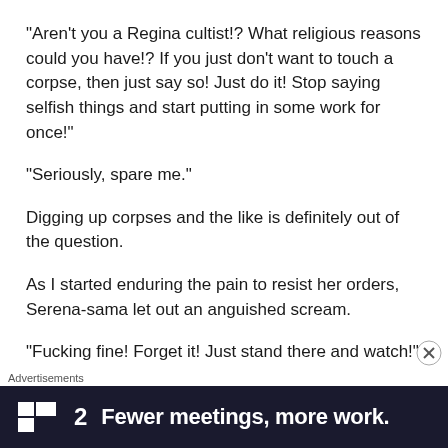“Aren’t you a Regina cultist!? What religious reasons could you have!? If you just don’t want to touch a corpse, then just say so! Just do it! Stop saying selfish things and start putting in some work for once!”
“Seriously, spare me.”
Digging up corpses and the like is definitely out of the question.
As I started enduring the pain to resist her orders, Serena-sama let out an anguished scream.
“Fucking fine! Forget it! Just stand there and watch!”
Almost on the verge of tears, Serena-sama picked up
Advertisements
[Figure (other): Advertisement banner: F2 logo with text 'Fewer meetings, more work.']